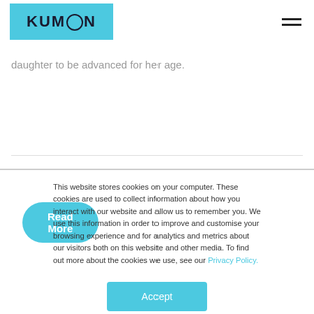KUMON
daughter to be advanced for her age.
Read More
This website stores cookies on your computer. These cookies are used to collect information about how you interact with our website and allow us to remember you. We use this information in order to improve and customise your browsing experience and for analytics and metrics about our visitors both on this website and other media. To find out more about the cookies we use, see our Privacy Policy.
Accept